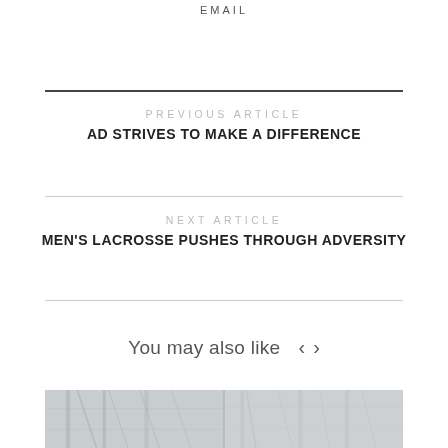EMAIL
PREVIOUS ARTICLE
AD STRIVES TO MAKE A DIFFERENCE
NEXT ARTICLE
MEN'S LACROSSE PUSHES THROUGH ADVERSITY
You may also like
[Figure (photo): Two side-by-side outdoor photos showing trees and fencing in winter/grey conditions]